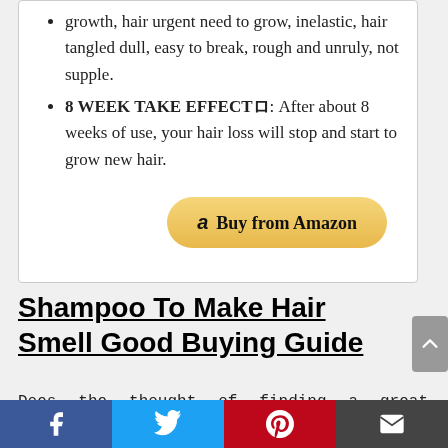growth, hair urgent need to grow, inelastic, hair tangled dull, easy to break, rough and unruly, not supple.
8 WEEK TAKE EFFECTロ: After about 8 weeks of use, your hair loss will stop and start to grow new hair.
[Figure (other): Buy from Amazon button with Amazon logo]
Shampoo To Make Hair Smell Good Buying Guide
Does the thought of finding a great Shampoo To
[Figure (other): Social share bar with Facebook, Twitter, Pinterest, and Email icons]